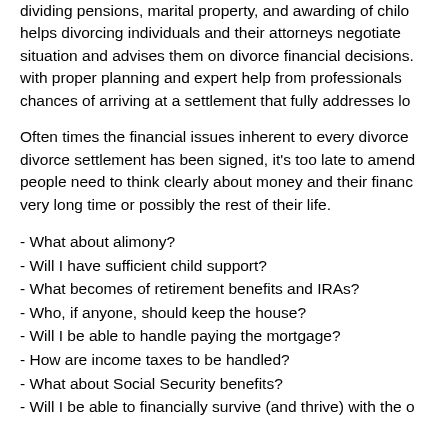dividing pensions, marital property, and awarding of chilo helps divorcing individuals and their attorneys negotiate situation and advises them on divorce financial decisions. with proper planning and expert help from professionals chances of arriving at a settlement that fully addresses lo
Often times the financial issues inherent to every divorce divorce settlement has been signed, it's too late to amend people need to think clearly about money and their financ very long time or possibly the rest of their life.
- What about alimony?
- Will I have sufficient child support?
- What becomes of retirement benefits and IRAs?
- Who, if anyone, should keep the house?
- Will I be able to handle paying the mortgage?
- How are income taxes to be handled?
- What about Social Security benefits?
- Will I be able to financially survive (and thrive) with the o